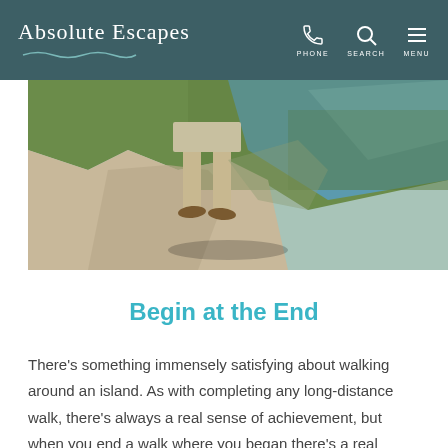Absolute Escapes
[Figure (photo): A person walking on a coastal cliff path in sandals, wearing shorts. Green grass on the right, chalky path, blue sea visible in the background.]
Begin at the End
There’s something immensely satisfying about walking around an island. As with completing any long-distance walk, there’s always a real sense of achievement, but when you end a walk where you began there’s a real feeling of